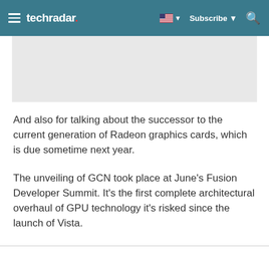techradar | Subscribe
[Figure (other): Advertisement placeholder image, light gray rectangle]
And also for talking about the successor to the current generation of Radeon graphics cards, which is due sometime next year.
The unveiling of GCN took place at June's Fusion Developer Summit. It's the first complete architectural overhaul of GPU technology it's risked since the launch of Vista.